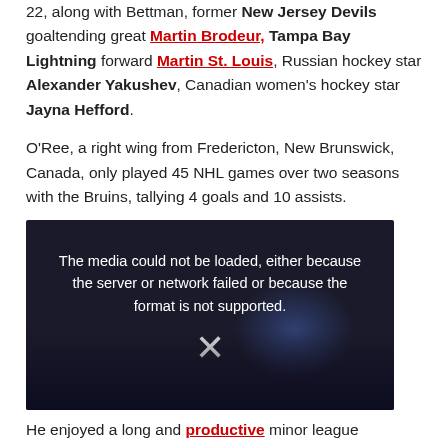22, along with Bettman, former New Jersey Devils goaltending great Martin Brodeur, Tampa Bay Lightning forward Martin St. Louis, Russian hockey star Alexander Yakushev, Canadian women's hockey star Jayna Hefford.
O'Ree, a right wing from Fredericton, New Brunswick, Canada, only played 45 NHL games over two seasons with the Bruins, tallying 4 goals and 10 assists.
[Figure (other): Video player showing error message: 'The media could not be loaded, either because the server or network failed or because the format is not supported.' with an X dismiss button, over a dark background with silhouetted crowd and blue lighting.]
He enjoyed a long and productive minor league career, finishing as the 13th all-time leading scorer in...